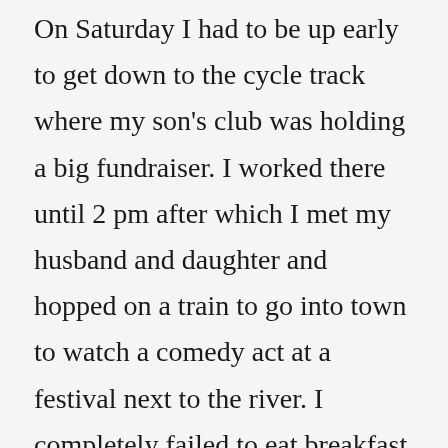On Saturday I had to be up early to get down to the cycle track where my son's club was holding a big fundraiser. I worked there until 2 pm after which I met my husband and daughter and hopped on a train to go into town to watch a comedy act at a festival next to the river. I completely failed to eat breakfast or lunch, so by the time we got there I was ravenous and had a slice of pizza as my first food of the day at 3 pm. And a big glass of wine, because the sun was shining and we were next to the river and it was all so lovely and sociable and blah, blah, excuse, excuse. Then, guess what? They let you take drinks into the auditorium. So, I had another glass. And after the show, we decided to have dinner, and I proceeded to order some really crappy and not very filling and another glass, and then we went home and this happened.